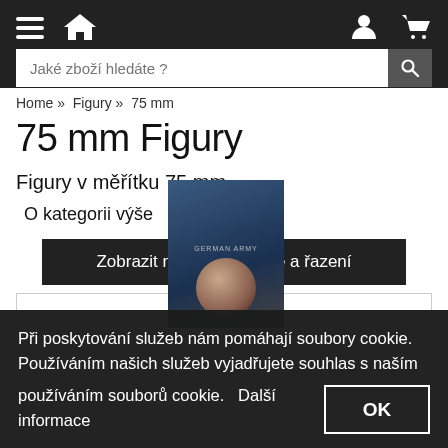Navigation bar with hamburger menu, home icon, user icon, and cart icon
Jaké zboží hledáte ?
Home » Figury » 75 mm
75 mm Figury
Figury v měřítku 75 mm
O kategorii výše ˄
Zobrazit možnosti filtrace a řazení
Při poskytování služeb nám pomáhají soubory cookie. Používáním našich služeb vyjadřujete souhlas s naším používáním souborů cookie.   Další informace
OK